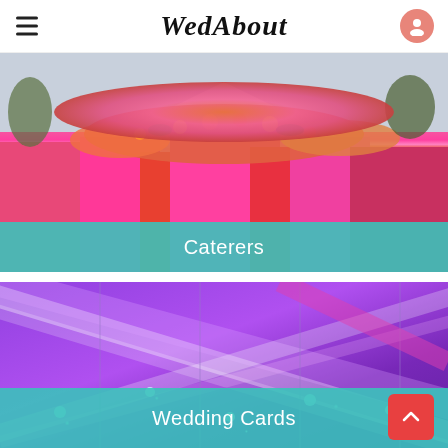WedAbout
[Figure (photo): Wedding floral decoration with bright pink, red, and orange flowers and fabric draped over an outdoor tent structure]
Caterers
[Figure (photo): Purple and violet lit wedding venue interior with diagonal fabric ribbons and twinkling lights on ceiling trusses]
Wedding Cards